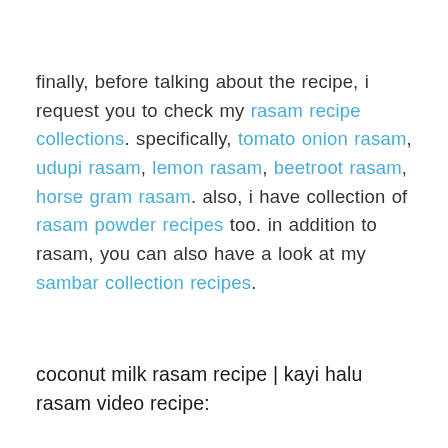finally, before talking about the recipe, i request you to check my rasam recipe collections. specifically, tomato onion rasam, udupi rasam, lemon rasam, beetroot rasam, horse gram rasam. also, i have collection of rasam powder recipes too. in addition to rasam, you can also have a look at my sambar collection recipes.
coconut milk rasam recipe | kayi halu rasam video recipe: